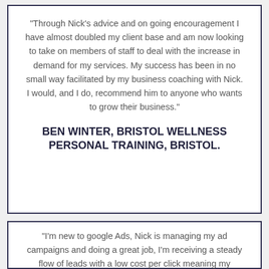“Through Nick’s advice and on going encouragement I have almost doubled my client base and am now looking to take on members of staff to deal with the increase in demand for my services. My success has been in no small way facilitated by my business coaching with Nick. I would, and I do, recommend him to anyone who wants to grow their business.”
BEN WINTER, BRISTOL WELLNESS PERSONAL TRAINING, BRISTOL.
“I’m new to google Ads, Nick is managing my ad campaigns and doing a great job, I’m receiving a steady flow of leads with a low cost per click meaning my marketing is